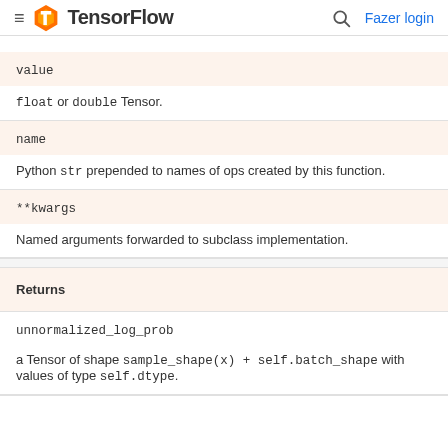TensorFlow — Fazer login
| Parameter | Description |
| --- | --- |
| value | float or double Tensor. |
| name | Python str prepended to names of ops created by this function. |
| **kwargs | Named arguments forwarded to subclass implementation. |
Returns
| Name | Description |
| --- | --- |
| unnormalized_log_prob | a Tensor of shape sample_shape(x) + self.batch_shape with values of type self.dtype. |